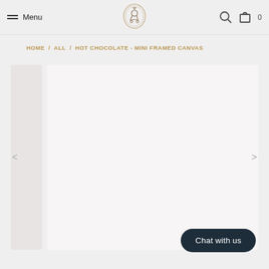Menu | [Logo] | [Search] [Cart] 0
HOME / ALL / HOT CHOCOLATE - MINI FRAMED CANVAS
[Figure (screenshot): Product image carousel area with thumbnail strip on the left and main image area on the right, with left and right navigation arrows]
Chat with us